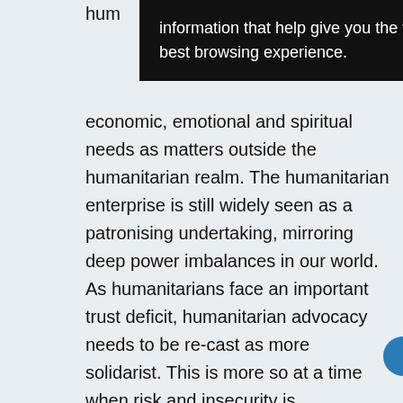[Figure (screenshot): Black tooltip overlay showing text: 'information that help give you the very best browsing experience.']
economic, emotional and spiritual needs as matters outside the humanitarian realm. The humanitarian enterprise is still widely seen as a patronising undertaking, mirroring deep power imbalances in our world. As humanitarians face an important trust deficit, humanitarian advocacy needs to be re-cast as more solidarist. This is more so at a time when risk and insecurity is personalised and resilience humanitarianism is ascendant (Duffield, 2019). To put this solidarist advocacy into